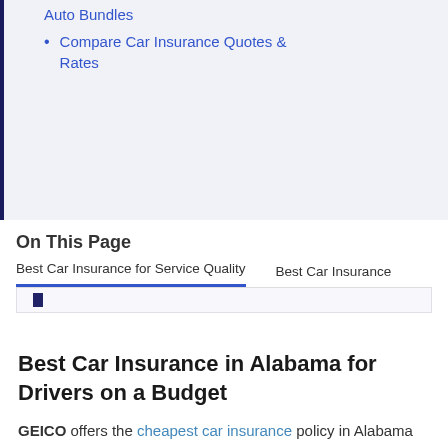Auto Bundles
Compare Car Insurance Quotes & Rates
On This Page
Best Car Insurance for Service Quality    Best Car Insurance
Best Car Insurance in Alabama for Drivers on a Budget
GEICO offers the cheapest car insurance policy in Alabama that meets the state's minimum coverage requirements.
Balancing both affordability with quality service, the best and most affordable auto insurers in Alabama are: